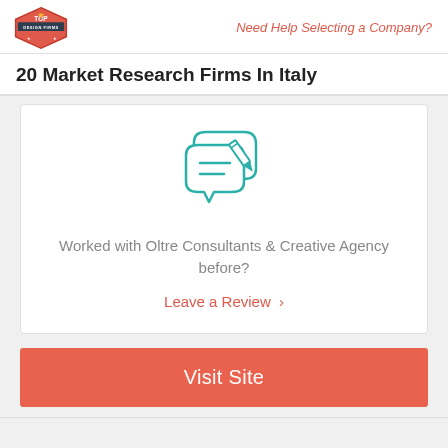Need Help Selecting a Company?
20 Market Research Firms In Italy
[Figure (illustration): Teal/green speech bubble icon with a pencil writing on lines, representing a review or feedback prompt.]
Worked with Oltre Consultants & Creative Agency before?
Leave a Review  >
Visit Site